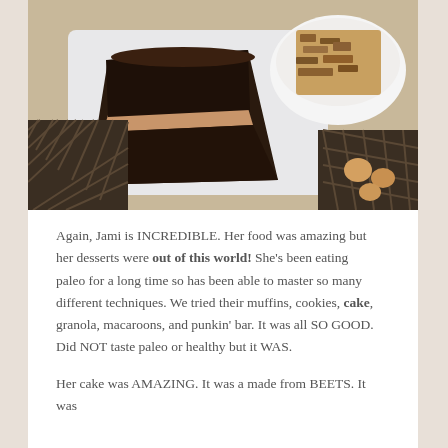[Figure (photo): Overhead photo of a slice of dark chocolate layer cake with cream filling on a white plate, alongside a bowl of granola bars, on a metal mesh surface.]
Again, Jami is INCREDIBLE. Her food was amazing but her desserts were out of this world! She's been eating paleo for a long time so has been able to master so many different techniques. We tried their muffins, cookies, cake, granola, macaroons, and punkin' bar. It was all SO GOOD. Did NOT taste paleo or healthy but it WAS.
Her cake was AMAZING. It was a made from BEETS. It was